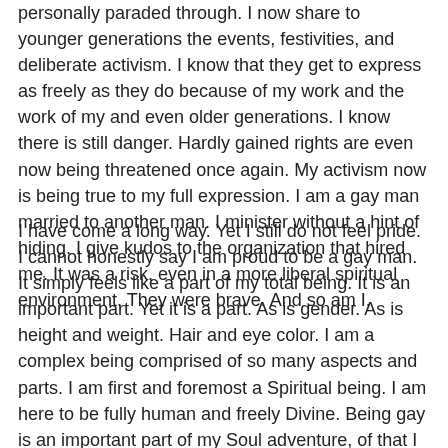personally paraded through. I now share to younger generations the events, festivities, and deliberate activism. I know that they get to express as freely as they do because of my work and the work of my and even older generations. I know there is still danger. Hardly gained rights are even now being threatened once again. My activism now is being true to my full expression. I am a gay man married to another man. I minister without a hint of hiding. I give kudos to the organization that hired me. It was a risk, even in a more liberal spiritual environment. They were brave. And so am I.
I have come a long way. Yet I still do not feel pride. I cannot honestly say I am proud to be a gay man. It simply feels like a part of my total being. It is an important part. Yet it is a part. As is gender. As is height and weight. Hair and eye color. I am a complex being comprised of so many aspects and parts. I am first and foremost a Spiritual being. I am here to be fully human and freely Divine. Being gay is an important part of my Soul adventure, of that I am clear. I have come to embrace it. It has come with many challenges and hurts. I could not honestly say I would choose it if I had the conscious choice. I never understand people who say it is a choice we make. I do not remember a time when my